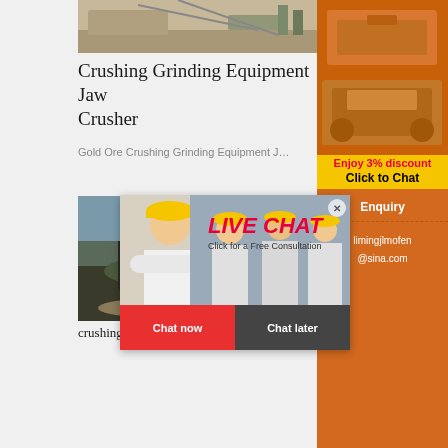[Figure (photo): Aerial/side view of a crushing and grinding site with conveyor belts and material piles]
Crushing Grinding Equipment Jaw Crusher
Gold Ore Crushing Grinding Equipment J…
[Figure (screenshot): Live chat popup overlay with workers in hard hats, LIVE CHAT heading, Click for a Free Consultation, Chat now and Chat later buttons]
[Figure (photo): Mobile crushing machine on a small scale mining site with debris and trees in background]
crushing machine small scale - Mining
[Figure (photo): Sidebar with orange background showing mining equipment machines]
Enjoy 3% discount
Click to Chat
Enquiry
limingjlmofen@sina.com